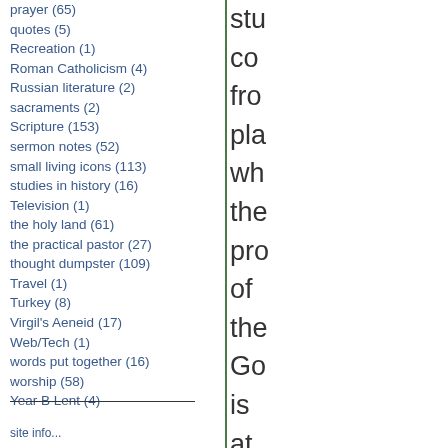prayer (65)
quotes (5)
Recreation (1)
Roman Catholicism (4)
Russian literature (2)
sacraments (2)
Scripture (153)
sermon notes (52)
small living icons (113)
studies in history (16)
Television (1)
the holy land (61)
the practical pastor (27)
thought dumpster (109)
Travel (1)
Turkey (8)
Virgil's Aeneid (17)
Web/Tech (1)
words put together (16)
worship (58)
Year B Lent (4)
stu co fro pla wh the pro of the Go is at be hir an at wo res in